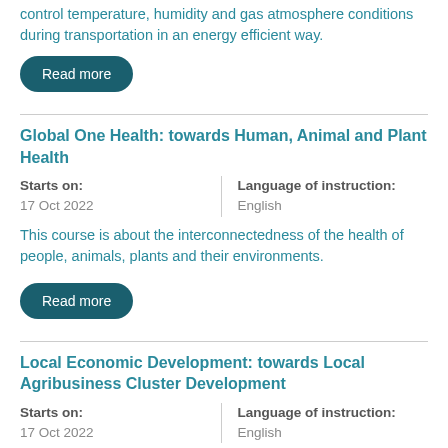control temperature, humidity and gas atmosphere conditions during transportation in an energy efficient way.
Read more
Global One Health: towards Human, Animal and Plant Health
Starts on: 17 Oct 2022
Language of instruction: English
This course is about the interconnectedness of the health of people, animals, plants and their environments.
Read more
Local Economic Development: towards Local Agribusiness Cluster Development
Starts on: 17 Oct 2022
Language of instruction: English